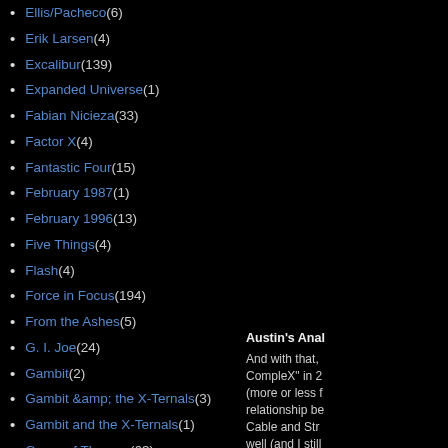Ellis/Pacheco (6)
Erik Larsen (4)
Excalibur (139)
Expanded Universe (1)
Fabian Nicieza (33)
Factor X (4)
Fantastic Four (15)
February 1987 (1)
February 1996 (13)
Five Things (4)
Flash (4)
Force in Focus (194)
From the Ashes (5)
G. I. Joe (24)
Gambit (2)
Gambit &amp; the X-Ternals (3)
Gambit and the X-Ternals (1)
Game of Thrones (63)
Gene Colan (1)
Gene Ha (3)
Generation Next (4)
Generation X (27)
Austin's Anal And with that, CompleX" in 2 (more or less f relationship be Cable and Str well (and I stil *explicitly* ans with Cyclops t On the micro-l want to kill Xa movements be the next, and feels entirely t X-Force t